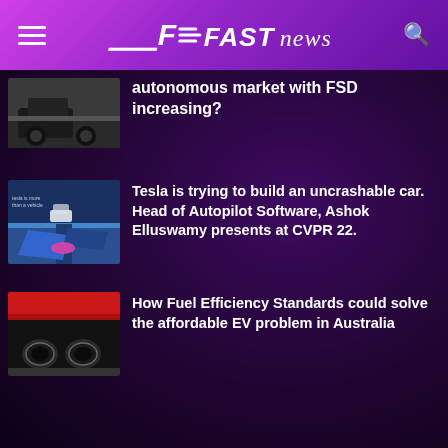FAST news
[Figure (photo): Partial car/vehicle image thumbnail, dark road scene]
autonomous market with FSD increasing?
[Figure (photo): Tesla autopilot simulation overhead view with blue tarp/obstacles]
Tesla is trying to build an uncrashable car. Head of Autopilot Software, Ashok Elluswamy presents at CVPR 22.
[Figure (photo): Car exhaust pipes close-up photo]
How Fuel Efficiency Standards could solve the affordable EV problem in Australia